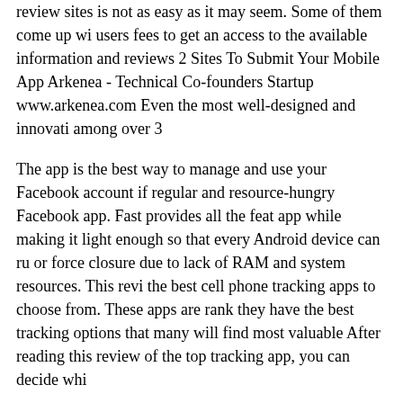review sites is not as easy as it may seem. Some of them come up with users fees to get an access to the available information and reviews 2 Sites To Submit Your Mobile App Arkenea - Technical Co-founders Startup www.arkenea.com Even the most well-designed and innovative among over 3
The app is the best way to manage and use your Facebook account if regular and resource-hungry Facebook app. Fast provides all the features app while making it light enough so that every Android device can run or force closure due to lack of RAM and system resources. This review the best cell phone tracking apps to choose from. These apps are ranked they have the best tracking options that many will find most valuable. After reading this review of the top tracking app, you can decide which
This review presents you with a list of the best cell phone tracking apps apps are ranked top 10 apps globally, and they have the best tracking most valuable. mSpy (best phone tracker) After reading this review of can decide which one you think is the best. But we've done a little so developers out, as well. Because of the need for exposure, we at App the greatest app review websites, including free, paid, and hand-pick